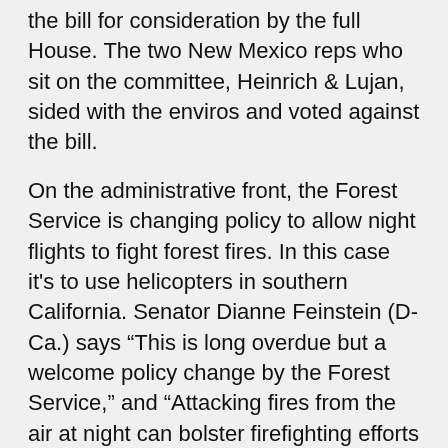the bill for consideration by the full House. The two New Mexico reps who sit on the committee, Heinrich & Lujan, sided with the enviros and voted against the bill.
On the administrative front, the Forest Service is changing policy to allow night flights to fight forest fires. In this case it's to use helicopters in southern California. Senator Dianne Feinstein (D-Ca.) says “This is long overdue but a welcome policy change by the Forest Service,” and “Attacking fires from the air at night can bolster firefighting efforts because temperatures are cooler, humidity is higher and Santa Ana winds die down.”
There’s just one problem: the policy doesn’t take effect until next year. In the meantime, the Forest Service will spend $2 million to train staff and purchase night vision goggles. It takes a year to change policy, but boy they can spend that money right now.